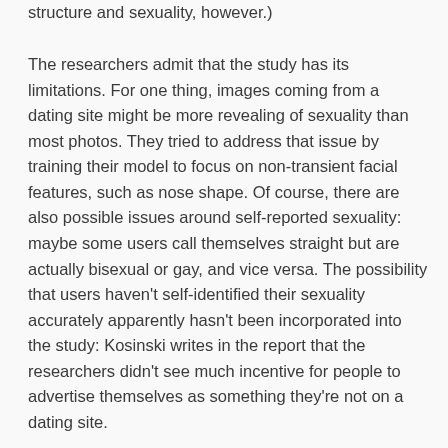structure and sexuality, however.)
The researchers admit that the study has its limitations. For one thing, images coming from a dating site might be more revealing of sexuality than most photos. They tried to address that issue by training their model to focus on non-transient facial features, such as nose shape. Of course, there are also possible issues around self-reported sexuality: maybe some users call themselves straight but are actually bisexual or gay, and vice versa. The possibility that users haven't self-identified their sexuality accurately apparently hasn't been incorporated into the study: Kosinski writes in the report that the researchers didn't see much incentive for people to advertise themselves as something they're not on a dating site.